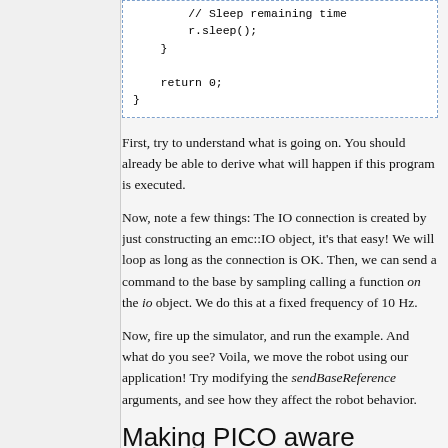// Sleep remaining time
        r.sleep();
    }

    return 0;
}
First, try to understand what is going on. You should already be able to derive what will happen if this program is executed.
Now, note a few things: The IO connection is created by just constructing an emc::IO object, it's that easy! We will loop as long as the connection is OK. Then, we can send a command to the base by sampling calling a function on the io object. We do this at a fixed frequency of 10 Hz.
Now, fire up the simulator, and run the example. And what do you see? Voila, we move the robot using our application! Try modifying the sendBaseReference arguments, and see how they affect the robot behavior.
Making PICO aware
So, the robot moves, but it's still pretty stupid...